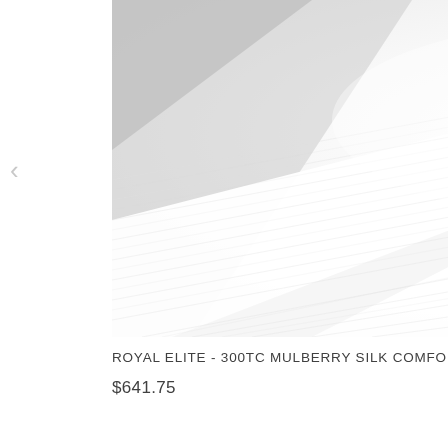[Figure (photo): Close-up macro photograph of white mulberry silk comforter fabric showing fine silk fibers and texture, bright white color]
ROYAL ELITE - 300TC MULBERRY SILK COMFORTER
$641.75
RO
$3